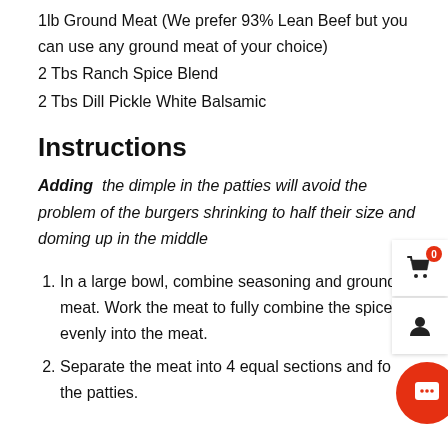1lb Ground Meat (We prefer 93% Lean Beef but you can use any ground meat of your choice)
2 Tbs Ranch Spice Blend
2 Tbs Dill Pickle White Balsamic
Instructions
Adding the dimple in the patties will avoid the problem of the burgers shrinking to half their size and doming up in the middle
In a large bowl, combine seasoning and ground meat. Work the meat to fully combine the spices evenly into the meat.
Separate the meat into 4 equal sections and fo[rm] the patties.